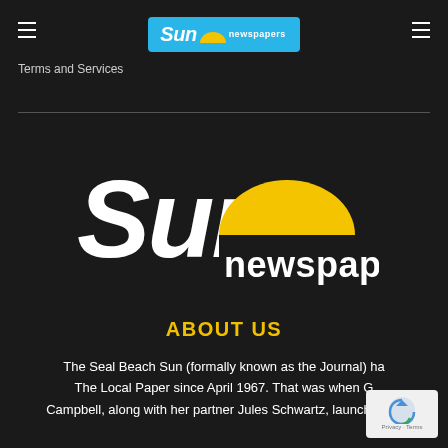Sun newspapers — Terms and Services
[Figure (logo): Sun Newspapers large logo on dark background — 'Sun' in large white bold italic text with a yellow half-circle sun icon, 'newspapers' in smaller white bold text]
ABOUT US
The Seal Beach Sun (formally known as the Journal) ha... The Local Paper since April 1967. That was when G... Campbell, along with her partner Jules Schwartz, launche... Vol...